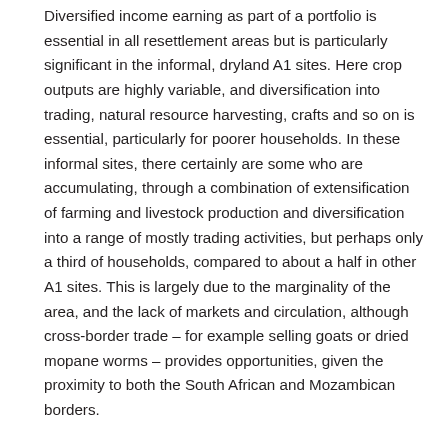Diversified income earning as part of a portfolio is essential in all resettlement areas but is particularly significant in the informal, dryland A1 sites. Here crop outputs are highly variable, and diversification into trading, natural resource harvesting, crafts and so on is essential, particularly for poorer households. In these informal sites, there certainly are some who are accumulating, through a combination of extensification of farming and livestock production and diversification into a range of mostly trading activities, but perhaps only a third of households, compared to about a half in other A1 sites. This is largely due to the marginality of the area, and the lack of markets and circulation, although cross-border trade – for example selling goats or dried mopane worms – provides opportunities, given the proximity to both the South African and Mozambican borders.